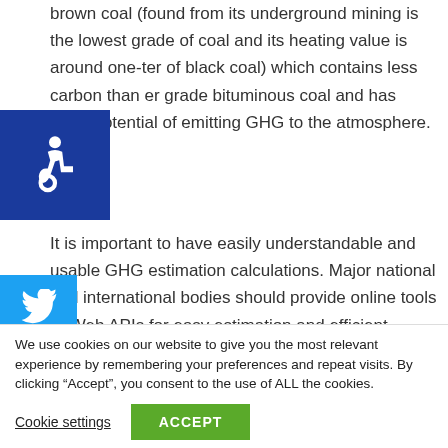brown coal (found from its underground mining is the lowest grade of coal and its heating value is around one-ter of black coal) which contains less carbon than er grade bituminous coal and has more potential of emitting GHG to the atmosphere.
It is important to have easily understandable and usable GHG estimation calculations. Major national and international bodies should provide online tools or Web APIs for easy estimation and efficient sharing of GHG data. Unfortunately, this is not the case and individuals and
We use cookies on our website to give you the most relevant experience by remembering your preferences and repeat visits. By clicking “Accept”, you consent to the use of ALL the cookies.